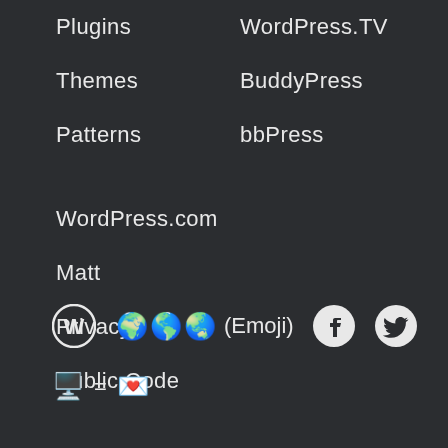Plugins
WordPress.TV
Themes
BuddyPress
Patterns
bbPress
WordPress.com
Matt
Privacy
Public Code
[Figure (logo): WordPress logo (white circle with W), three globe emojis, text (Emoji), Facebook icon, Twitter bird icon in footer row]
[Figure (infographic): Monitor emoji = heart-envelope emoji on second footer row]